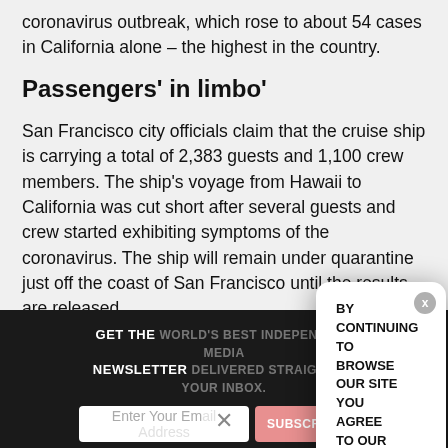coronavirus outbreak, which rose to about 54 cases in California alone – the highest in the country.
Passengers' in limbo'
San Francisco city officials claim that the cruise ship is carrying a total of 2,383 guests and 1,100 crew members. The ship's voyage from Hawaii to California was cut short after several guests and crew started exhibiting symptoms of the coronavirus. The ship will remain under quarantine just off the coast of San Francisco until the results are released.
GET THE WORLD'S BEST INDEPENDENT MEDIA NEWSLETTER DELIVERED STRAIGHT TO YOUR INBOX.
Enter Your Email Address
SUBSCRIBE
BY CONTINUING TO BROWSE OUR SITE YOU AGREE TO OUR USE OF COOKIES AND OUR PRIVACY POLICY.
Agree and close